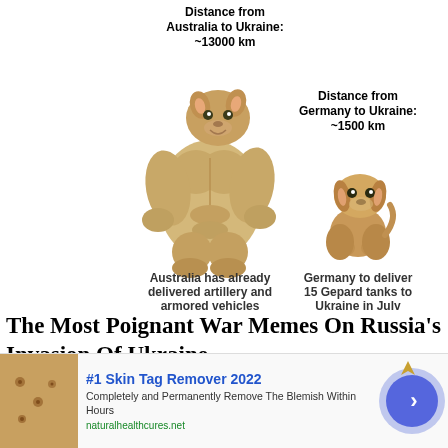[Figure (illustration): Internet meme comparing Australia (buff Doge) vs Germany (Cheems) in delivering military aid to Ukraine, with text labels about distances and aid delivered]
The Most Poignant War Memes On Russia's Invasion Of Ukraine
Brainberries
[Figure (photo): Photo strip showing smartphones with colorful cases against a bokeh background]
#1 Skin Tag Remover 2022
Completely and Permanently Remove The Blemish Within Hours
naturalhealthcures.net